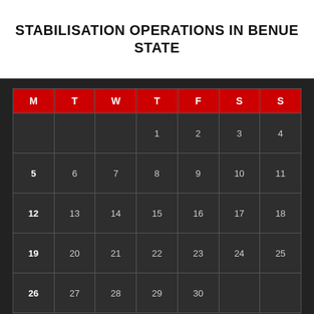STABILISATION OPERATIONS IN BENUE STATE
| M | T | W | T | F | S | S |
| --- | --- | --- | --- | --- | --- | --- |
|  |  |  | 1 | 2 | 3 | 4 |
| 5 | 6 | 7 | 8 | 9 | 10 | 11 |
| 12 | 13 | 14 | 15 | 16 | 17 | 18 |
| 19 | 20 | 21 | 22 | 23 | 24 | 25 |
| 26 | 27 | 28 | 29 | 30 |  |  |
« Aug